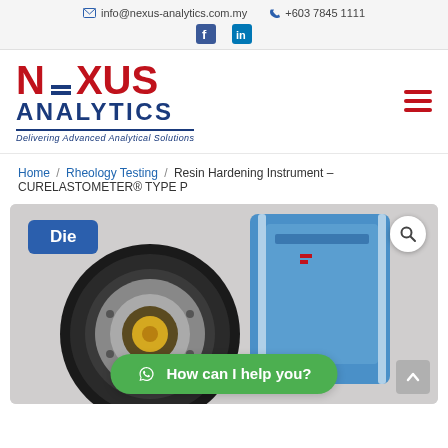info@nexus-analytics.com.my  +603 7845 1111
[Figure (logo): Nexus Analytics logo with red NEXUS text, dark blue ANALYTICS text, and tagline 'Delivering Advanced Analytical Solutions']
Home / Rheology Testing / Resin Hardening Instrument – CURELASTOMETER® TYPE P
[Figure (photo): Product photo showing a circular die component in foreground with blue label 'Die', and a blue instrument cabinet (CURELASTOMETER) in the background. A search icon in the top right and a green WhatsApp chat button at the bottom reading 'How can I help you?']